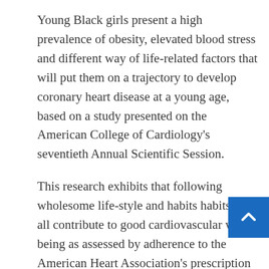Young Black girls present a high prevalence of obesity, elevated blood stress and different way of life-related factors that will put them on a trajectory to develop coronary heart disease at a young age, based on a study presented on the American College of Cardiology's seventieth Annual Scientific Session.
This research exhibits that following wholesome life-style and habits habits can all contribute to good cardiovascular well being as assessed by adherence to the American Heart Association's prescription for well being metric often known as Life's Simple Seven (LS7).
However they're at odds with some previous analysis too: Different studies have advised that life-style decisions do, in actual fact, make a distinction for folks at high genetic threat for dementia. So higher ranges are